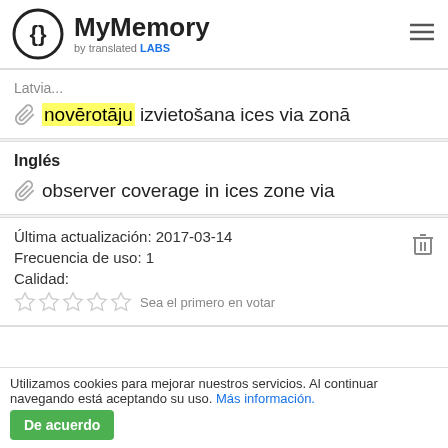[Figure (logo): MyMemory logo with curly braces in a circle and text 'MyMemory by translated LABS']
novērotāju izvietošana ices via zonā
Inglés
observer coverage in ices zone via
Última actualización: 2017-03-14
Frecuencia de uso: 1
Calidad:
☆☆☆☆☆ Sea el primero en votar
Utilizamos cookies para mejorar nuestros servicios. Al continuar navegando está aceptando su uso. Más información. De acuerdo